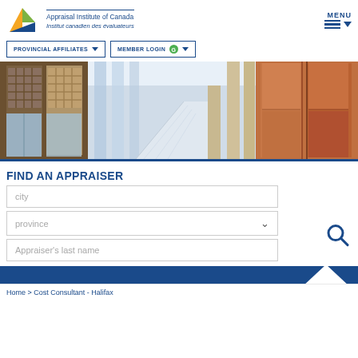[Figure (logo): Appraisal Institute of Canada logo with orange/green/blue triangular icon]
Appraisal Institute of Canada
Institut canadien des évaluateurs
[Figure (illustration): MENU icon with three horizontal lines and dropdown arrow]
[Figure (screenshot): Navigation buttons: PROVINCIAL AFFILIATES and MEMBER LOGIN with dropdown arrows]
[Figure (photo): Interior architectural photo of a modern building lobby with glass walls, stairs, and wood paneling]
FIND AN APPRAISER
[Figure (screenshot): Search form with city text field, province dropdown, and Appraiser's last name field with search icon]
Home > Cost Consultant - Halifax